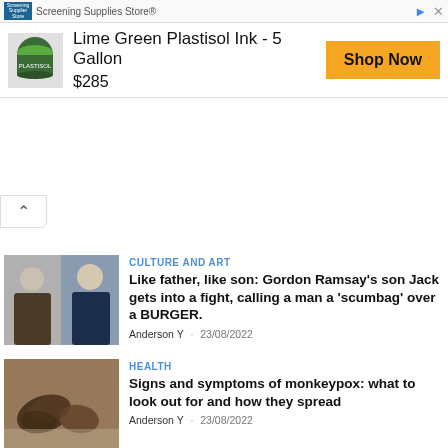[Figure (screenshot): Advertisement banner for Screening Supplies Store showing Lime Green Plastisol Ink - 5 Gallon at $285 with Shop Now button]
CULTURE AND ART
Like father, like son: Gordon Ramsay's son Jack gets into a fight, calling a man a 'scumbag' over a BURGER.
Anderson Y  23/08/2022
HEALTH
Signs and symptoms of monkeypox: what to look out for and how they spread
Anderson Y  23/08/2022
SPORT
Sixers potential trade target makes final decision on going forward